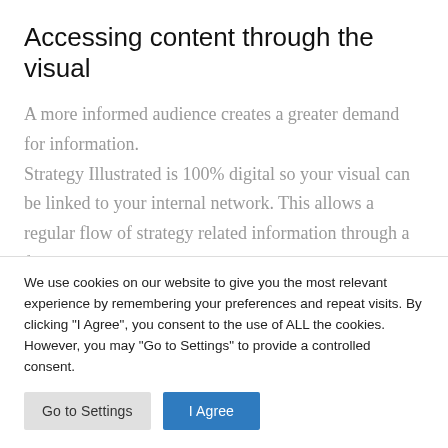Accessing content through the visual
A more informed audience creates a greater demand for information. Strategy Illustrated is 100% digital so your visual can be linked to your internal network. This allows a regular flow of strategy related information through a framework people have
We use cookies on our website to give you the most relevant experience by remembering your preferences and repeat visits. By clicking "I Agree", you consent to the use of ALL the cookies. However, you may "Go to Settings" to provide a controlled consent.